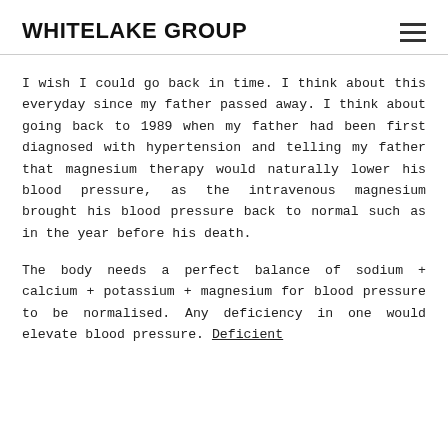WHITELAKE GROUP
I wish I could go back in time. I think about this everyday since my father passed away. I think about going back to 1989 when my father had been first diagnosed with hypertension and telling my father that magnesium therapy would naturally lower his blood pressure, as the intravenous magnesium brought his blood pressure back to normal such as in the year before his death.
The body needs a perfect balance of sodium + calcium + potassium + magnesium for blood pressure to be normalised. Any deficiency in one would elevate blood pressure. Deficient